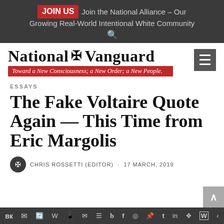JOIN US Join the National Alliance – Our Growing Real-World Intentional White Community
[Figure (logo): National Vanguard logo with tagline: Toward a New Consciousness; a New Order; a New People.]
ESSAYS
The Fake Voltaire Quote Again — This Time from Eric Margolis
CHRIS ROSSETTI (EDITOR) · 17 MARCH, 2019
Social sharing bar with icons: vk, telegram, reddit, wordpress, whatsapp, email, buffer, twitter, facebook, instagram, pinterest, tumblr, linkedin, share, wordpress, share